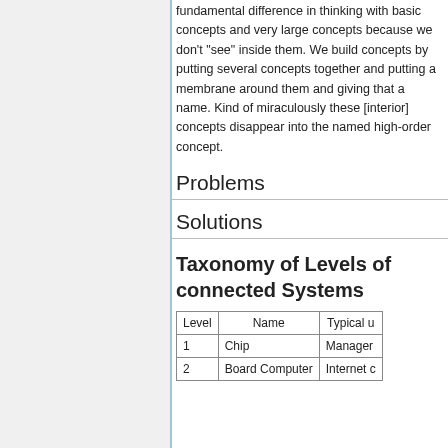fundamental difference in thinking with basic concepts and very large concepts because we don't "see" inside them. We build concepts by putting several concepts together and putting a membrane around them and giving that a name. Kind of miraculously these [interior] concepts disappear into the named high-order concept.
Problems
Solutions
Taxonomy of Levels of connected Systems
| Level | Name | Typical u... |
| --- | --- | --- |
| 1 | Chip | Manager... |
| 2 | Board Computer | Internet ... |